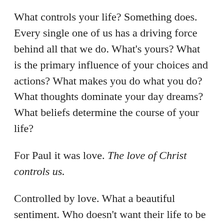What controls your life? Something does. Every single one of us has a driving force behind all that we do. What's yours? What is the primary influence of your choices and actions? What makes you do what you do? What thoughts dominate your day dreams? What beliefs determine the course of your life?
For Paul it was love. The love of Christ controls us.
Controlled by love. What a beautiful sentiment. Who doesn't want their life to be controlled by the love of Jesus? But what exactly does that mean? What is the love of Christ? And what is our love for Christ? Don't worry Paul will give us an answer. And the answer is found in Christ's union with...